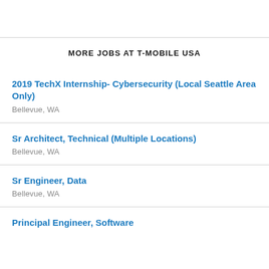MORE JOBS AT T-MOBILE USA
2019 TechX Internship- Cybersecurity (Local Seattle Area Only)
Bellevue, WA
Sr Architect, Technical (Multiple Locations)
Bellevue, WA
Sr Engineer, Data
Bellevue, WA
Principal Engineer, Software